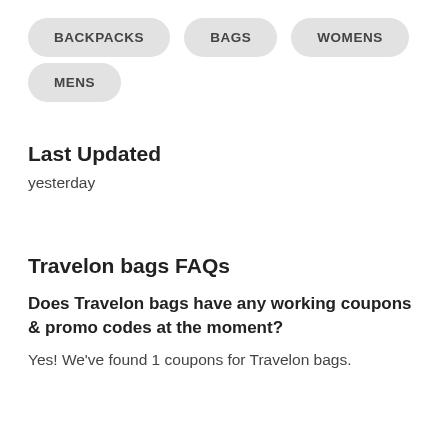BACKPACKS
BAGS
WOMENS
MENS
Last Updated
yesterday
Travelon bags FAQs
Does Travelon bags have any working coupons & promo codes at the moment?
Yes! We've found 1 coupons for Travelon bags.